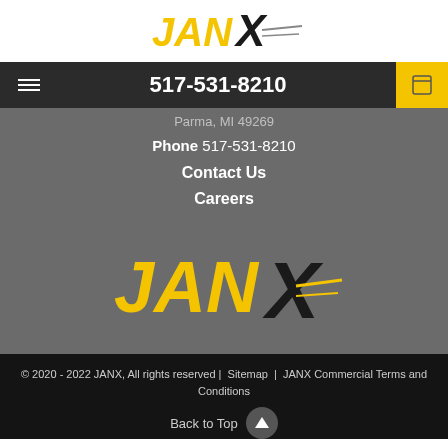[Figure (logo): JANX logo with yellow JAN text and black X with speed lines, on white background]
517-531-8210
Parma, MI 49269
Phone 517-531-8210
Contact Us
Careers
[Figure (logo): Large JANX logo with yellow JAN text and black X with yellow speed lines, on gray background]
© 2020 - 2022 JANX, All rights reserved | Sitemap | JANX Commercial Terms and Conditions
Back to Top